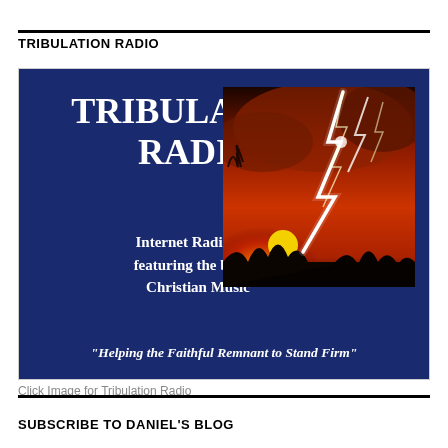TRIBULATION RADIO
[Figure (infographic): Tribulation Radio advertisement banner with dark navy background. Left side shows large white bold text 'TRIBULATION RADIO', below it 'Internet Radio 24/7 featuring the best in Christian Music', and at the bottom italicized quote 'Helping the Faithful Remnant to Stand Firm'. Right side shows a dramatic photograph of lightning bolts over a fiery red sunset sky.]
Click Image for Tribulation Radio
SUBSCRIBE TO DANIEL'S BLOG